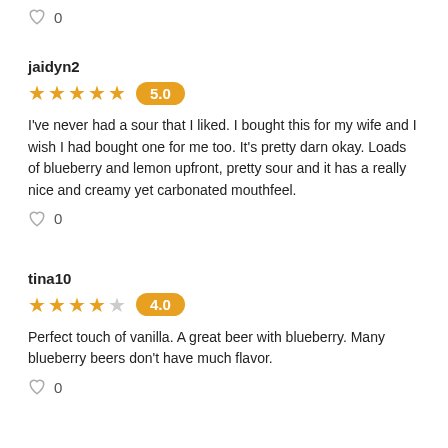♡ 0
jaidyn2
[Figure (other): 5 filled orange stars with score badge showing 5.0]
I've never had a sour that I liked. I bought this for my wife and I wish I had bought one for me too. It's pretty darn okay. Loads of blueberry and lemon upfront, pretty sour and it has a really nice and creamy yet carbonated mouthfeel.
♡ 0
tina10
[Figure (other): 4 filled orange stars and 1 empty star with score badge showing 4.0]
Perfect touch of vanilla. A great beer with blueberry. Many blueberry beers don't have much flavor.
♡ 0